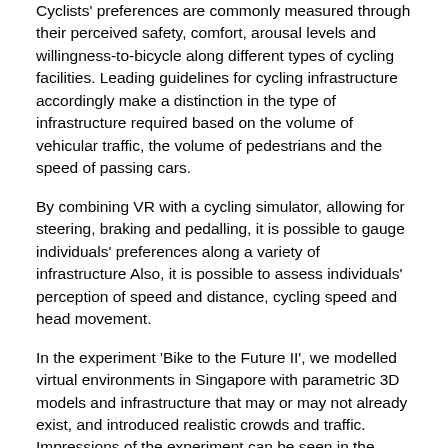Cyclists' preferences are commonly measured through their perceived safety, comfort, arousal levels and willingness-to-bicycle along different types of cycling facilities. Leading guidelines for cycling infrastructure accordingly make a distinction in the type of infrastructure required based on the volume of vehicular traffic, the volume of pedestrians and the speed of passing cars.
By combining VR with a cycling simulator, allowing for steering, braking and pedalling, it is possible to gauge individuals' preferences along a variety of infrastructure Also, it is possible to assess individuals' perception of speed and distance, cycling speed and head movement.
In the experiment 'Bike to the Future II', we modelled virtual environments in Singapore with parametric 3D models and infrastructure that may or may not already exist, and introduced realistic crowds and traffic. Impressions of the experiment can be seen in the accompanying figures; videos are available online.
Segregated Bicycle Paths Favoured
Participants were able to recognize speed differences of up to 20 km/h in virtual reality and lane width differences of up to 60 centimetres. Differences of respectively 10 km/h and 30